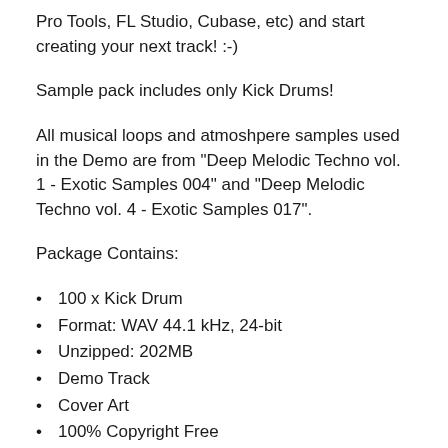Pro Tools, FL Studio, Cubase, etc) and start creating your next track! :-)
Sample pack includes only Kick Drums!
All musical loops and atmoshpere samples used in the Demo are from "Deep Melodic Techno vol. 1 - Exotic Samples 004" and "Deep Melodic Techno vol. 4 - Exotic Samples 017".
Package Contains:
100 x Kick Drum
Format: WAV 44.1 kHz, 24-bit
Unzipped: 202MB
Demo Track
Cover Art
100% Copyright Free